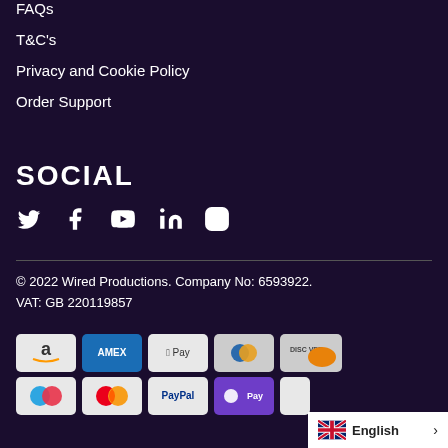FAQs
T&C's
Privacy and Cookie Policy
Order Support
SOCIAL
[Figure (other): Social media icons: Twitter, Facebook, YouTube, LinkedIn, Instagram]
© 2022 Wired Productions. Company No: 6593922. VAT: GB 220119857
[Figure (other): Payment method icons: Amazon Pay, Amex, Apple Pay, Diners Club, Discover, Maestro, Mastercard, PayPal, O Pay]
English